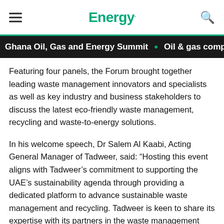Energy.
Ghana Oil, Gas and Energy Summit • Oil & gas company
Featuring four panels, the Forum brought together leading waste management innovators and specialists as well as key industry and business stakeholders to discuss the latest eco-friendly waste management, recycling and waste-to-energy solutions.
In his welcome speech, Dr Salem Al Kaabi, Acting General Manager of Tadweer, said: “Hosting this event aligns with Tadweer’s commitment to supporting the UAE’s sustainability agenda through providing a dedicated platform to advance sustainable waste management and recycling. Tadweer is keen to share its expertise with its partners in the waste management sector to address the sustainability challenges facing our communities and the planet at large.”